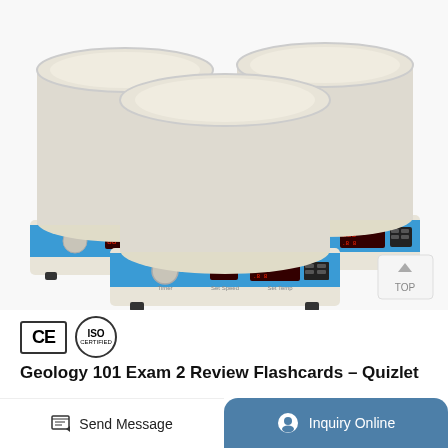[Figure (photo): Three laboratory heating mantles with blue control panels, digital temperature displays, and dial controls, arranged with two in the background and one in the foreground. A CE and ISO certification badge visible below the image. A 'TOP' navigation button in the top-right corner of the image area.]
Geology 101 Exam 2 Review Flashcards - Quizlet
A. may melt if heat is transferred to it from hot
Send Message
Inquiry Online